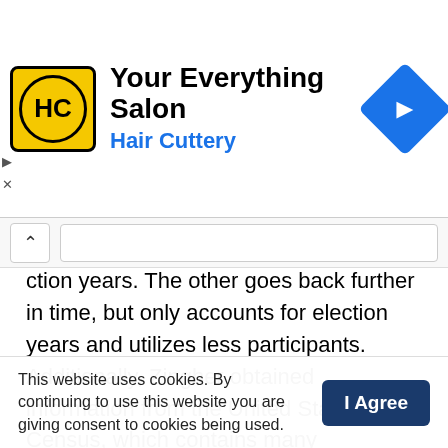[Figure (other): Hair Cuttery advertisement banner with logo, title 'Your Everything Salon', subtitle 'Hair Cuttery', and a blue arrow diamond icon on the right.]
ction years. The other goes back further in time, but only accounts for election years and utilizes less participants. Additionally, Zingher obtained information from the United States Census, which contains many demographics, including education level.
Results showed that there are factors that have greatly influenced the American electoral system, including the increasing level of education of Americans, more college-educated people identifying as Democrats, and such voters moving to major cities. There have been significant
This website uses cookies. By continuing to use this website you are giving consent to cookies being used.